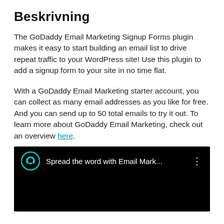Beskrivning
The GoDaddy Email Marketing Signup Forms plugin makes it easy to start building an email list to drive repeat traffic to your WordPress site! Use this plugin to add a signup form to your site in no time flat.
With a GoDaddy Email Marketing starter account, you can collect as many email addresses as you like for free. And you can send up to 50 total emails to try it out. To learn more about GoDaddy Email Marketing, check out an overview here.
[Figure (screenshot): A dark/black video player thumbnail showing the GoDaddy logo icon in teal and the text 'Spread the word with Email Mark...' with a vertical three-dot menu icon in white on a black background.]